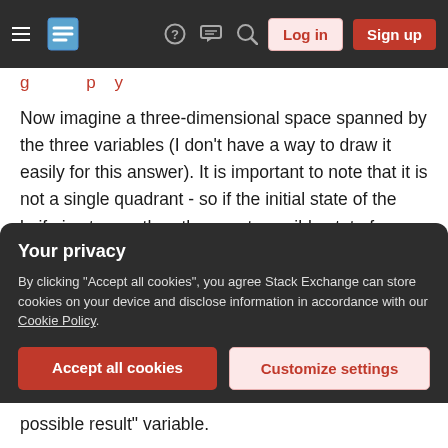Stack Exchange navigation bar with hamburger menu, logo, help, chat, search icons, Log in and Sign up buttons
Now imagine a three-dimensional space spanned by the three variables (I don't have a way to draw it easily for this answer). It is important to note that it is not a single quadrant - so if the initial state of the knife is at zero, then the worst possible state for some tools can get into negative numbers.
The traditional system of a sharpening stone (or a combination of sharpening stones with different grits) and a leather strop for honing is at one corner
Your privacy
By clicking "Accept all cookies", you agree Stack Exchange can store cookies on your device and disclose information in accordance with our Cookie Policy.
Accept all cookies
Customize settings
possible result" variable.